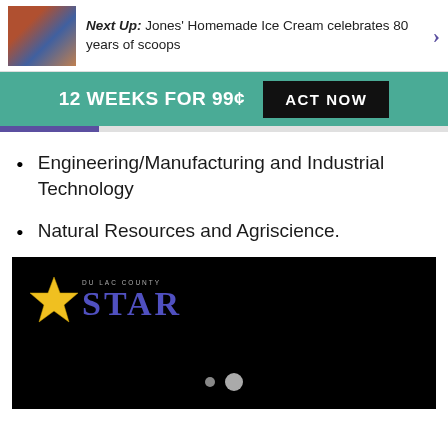Next Up: Jones' Homemade Ice Cream celebrates 80 years of scoops
12 WEEKS FOR 99¢  ACT NOW
Engineering/Manufacturing and Industrial Technology
Natural Resources and Agriscience.
[Figure (screenshot): Black video player area showing the DuLac County Star newspaper logo — a yellow star with the letters STAR in blue serif font on a black background, with two navigation dots at the bottom center.]